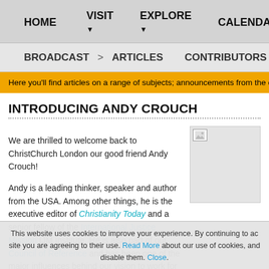HOME  VISIT ▾  EXPLORE ▾  CALENDA
BROADCAST  >  ARTICLES  CONTRIBUTORS
Here you'll find articles on a range of subjects; announcements from the church
INTRODUCING ANDY CROUCH
We are thrilled to welcome back to ChristChurch London our good friend Andy Crouch!

Andy is a leading thinker, speaker and author from the USA. Among other things, he is the executive editor of Christianity Today and a senior fellow of the International Justice Mission IJM Institute. He is also part of our Council of Reference and has been one of the major influences behind our vision to work for the social and
[Figure (photo): Placeholder image thumbnail for Andy Crouch]
This website uses cookies to improve your experience. By continuing to access this site you are agreeing to their use. Read More about our use of cookies, and how to disable them. Close.